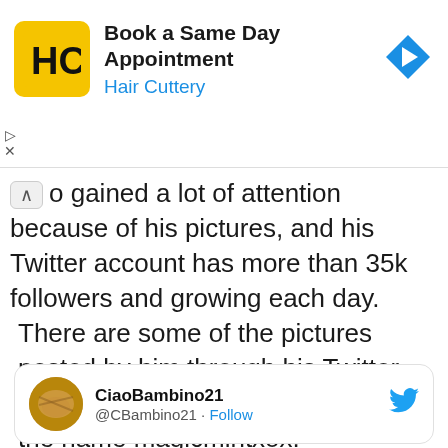[Figure (infographic): Hair Cuttery advertisement banner with yellow logo showing HC letters, text 'Book a Same Day Appointment' and 'Hair Cuttery' in blue, and a blue navigation arrow icon on the right. Play and X icons on lower left.]
o gained a lot of attention because of his pictures, and his Twitter account has more than 35k followers and growing each day.
There are some of the pictures posted by him through his Twitter account. he's popularly known by the name magicmintxox.
[Figure (screenshot): Twitter card showing user CiaoBambino21, handle @CBambino21, with a Follow link in blue and Twitter bird logo on right. Avatar shows a decorative image.]